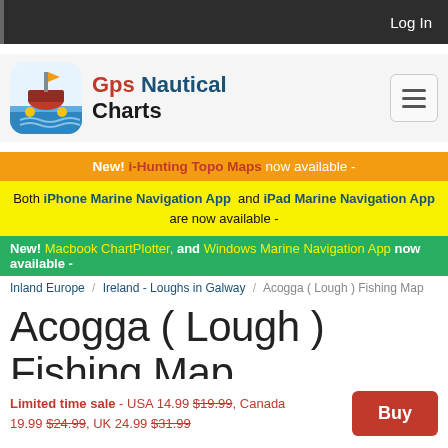Log In
[Figure (logo): GPS Nautical Charts app icon — ship with fishing imagery]
Gps Nautical Charts
New! i-Hunting Topo Maps now available -
Both iPhone Marine Navigation App and iPad Marine Navigation App are now available -
New! Macbook ChartPlotter, and Windows Marine Navigation App now available -
Inland Europe / Ireland - Loughs in Galway / Acogga ( Lough ) Fishing Map
Acogga ( Lough ) Fishing Map
Limited time sale - USA 14.99 $19.99, Canada 19.99 $24.99, UK 24.99 $31.99